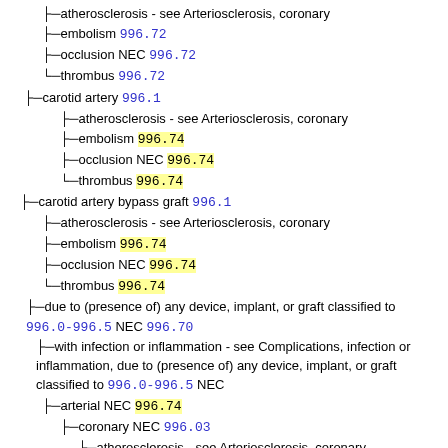atherosclerosis - see Arteriosclerosis, coronary
embolism 996.72
occlusion NEC 996.72
thrombus 996.72
carotid artery 996.1
atherosclerosis - see Arteriosclerosis, coronary
embolism 996.74
occlusion NEC 996.74
thrombus 996.74
carotid artery bypass graft 996.1
atherosclerosis - see Arteriosclerosis, coronary
embolism 996.74
occlusion NEC 996.74
thrombus 996.74
due to (presence of) any device, implant, or graft classified to 996.0-996.5 NEC 996.70
with infection or inflammation - see Complications, infection or inflammation, due to (presence of) any device, implant, or graft classified to 996.0-996.5 NEC
arterial NEC 996.74
coronary NEC 996.03
atherosclerosis - see Arteriosclerosis, coronary
embolism 996.72
occlusion NEC 996.70